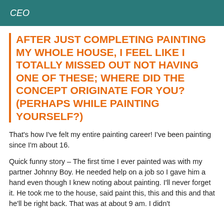CEO
AFTER JUST COMPLETING PAINTING MY WHOLE HOUSE, I FEEL LIKE I TOTALLY MISSED OUT NOT HAVING ONE OF THESE; WHERE DID THE CONCEPT ORIGINATE FOR YOU? (PERHAPS WHILE PAINTING YOURSELF?)
That's how I've felt my entire painting career! I've been painting since I'm about 16.
Quick funny story – The first time I ever painted was with my partner Johnny Boy. He needed help on a job so I gave him a hand even though I knew noting about painting. I'll never forget it. He took me to the house, said paint this, this and this and that he'll be right back. That was at about 9 am. I didn't